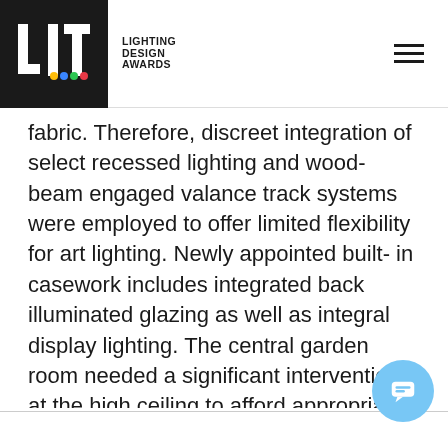LIT. LIGHTING DESIGN AWARDS
fabric. Therefore, discreet integration of select recessed lighting and wood- beam engaged valance track systems were employed to offer limited flexibility for art lighting. Newly appointed built- in casework includes integrated back illuminated glazing as well as integral display lighting. The central garden room needed a significant intervention at the high ceiling to afford appropriate and effectively expressed laylights that evoke daylight in an otherwise fully enclosed internal room, that once was open to the sky. An LED grid system above white acrylic laylights are integrated into a new articulated ceiling syst… The LPD for the project was 33% less than t…